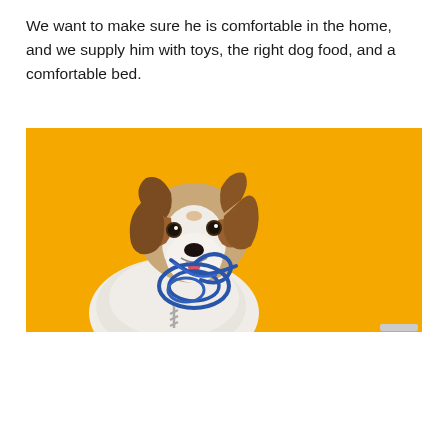We want to make sure he is comfortable in the home, and we supply him with toys, the right dog food, and a comfortable bed.
[Figure (photo): A Jack Russell Terrier dog holding a blue leash in its mouth, photographed against a bright orange/yellow background. The dog is white and brown, looking at the camera. The image has a small scrollbar indicator in the bottom-right corner.]